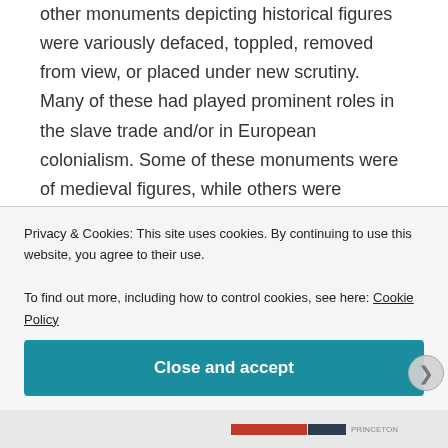other monuments depicting historical figures were variously defaced, toppled, removed from view, or placed under new scrutiny. Many of these had played prominent roles in the slave trade and/or in European colonialism. Some of these monuments were of medieval figures, while others were evocative—to varying degrees of credibility—of the (faux-)chivalric codes and rose-tinted regalia of the medieval past. Of course, to medievalists, the convergence of civic and civil statuary with protest and activism was nothing new. In fact, from the damnatio memoriae of later
Privacy & Cookies: This site uses cookies. By continuing to use this website, you agree to their use.
To find out more, including how to control cookies, see here: Cookie Policy
Close and accept